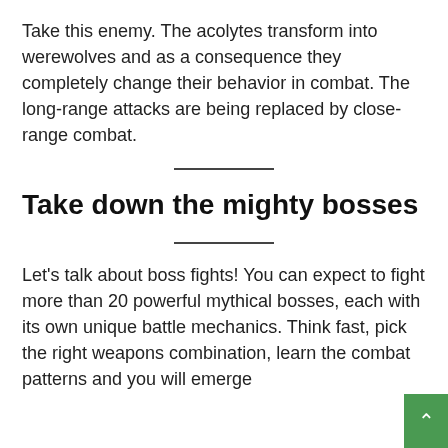Take this enemy. The acolytes transform into werewolves and as a consequence they completely change their behavior in combat. The long-range attacks are being replaced by close-range combat.
Take down the mighty bosses
Let's talk about boss fights! You can expect to fight more than 20 powerful mythical bosses, each with its own unique battle mechanics. Think fast, pick the right weapons combination, learn the combat patterns and you will emerge